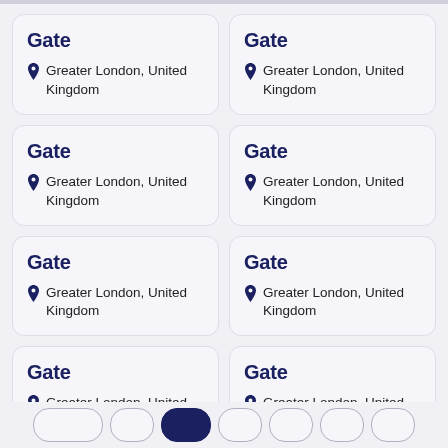Gate
Greater London, United Kingdom
Gate
Greater London, United Kingdom
Gate
Greater London, United Kingdom
Gate
Greater London, United Kingdom
Gate
Greater London, United Kingdom
Gate
Greater London, United Kingdom
Gate
Greater London, United Kingdom
Gate
Greater London, United Kingdom